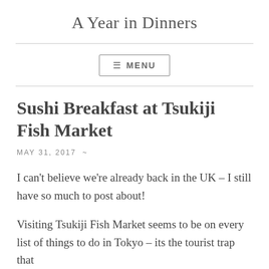A Year in Dinners
≡ MENU
Sushi Breakfast at Tsukiji Fish Market
MAY 31, 2017  ~
I can't believe we're already back in the UK – I still have so much to post about!
Visiting Tsukiji Fish Market seems to be on every list of things to do in Tokyo – its the tourist trap that